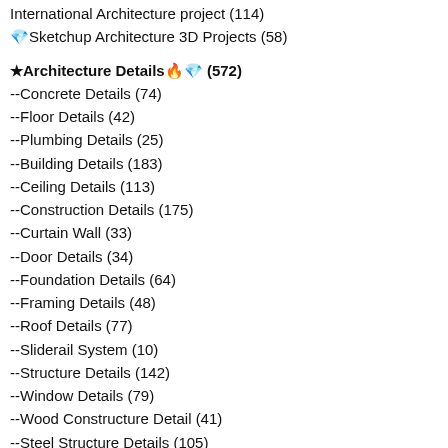International Architecture project (114)
💎Sketchup Architecture 3D Projects (58)
★Architecture Details🔥💎 (572)
--Concrete Details (74)
--Floor Details (42)
--Plumbing Details (25)
--Building Details (183)
--Ceiling Details (113)
--Construction Details (175)
--Curtain Wall (33)
--Door Details (34)
--Foundation Details (64)
--Framing Details (48)
--Roof Details (77)
--Sliderail System (10)
--Structure Details (142)
--Window Details (79)
--Wood Constructure Detail (41)
--Steel Structure Details (105)
--Accessibility facilities (19)